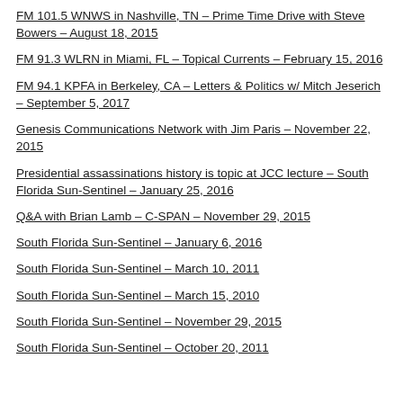FM 101.5 WNWS in Nashville, TN – Prime Time Drive with Steve Bowers – August 18, 2015
FM 91.3 WLRN in Miami, FL – Topical Currents – February 15, 2016
FM 94.1 KPFA in Berkeley, CA – Letters & Politics w/ Mitch Jeserich – September 5, 2017
Genesis Communications Network with Jim Paris – November 22, 2015
Presidential assassinations history is topic at JCC lecture – South Florida Sun-Sentinel – January 25, 2016
Q&A with Brian Lamb – C-SPAN – November 29, 2015
South Florida Sun-Sentinel – January 6, 2016
South Florida Sun-Sentinel – March 10, 2011
South Florida Sun-Sentinel – March 15, 2010
South Florida Sun-Sentinel – November 29, 2015
South Florida Sun-Sentinel – October 20, 2011